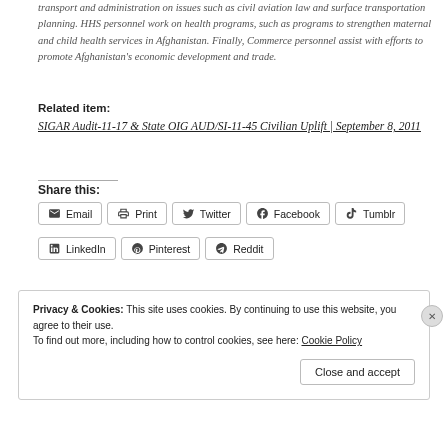transport and administration on issues such as civil aviation law and surface transportation planning. HHS personnel work on health programs, such as programs to strengthen maternal and child health services in Afghanistan. Finally, Commerce personnel assist with efforts to promote Afghanistan's economic development and trade.
Related item:
SIGAR Audit-11-17 & State OIG AUD/SI-11-45 Civilian Uplift | September 8, 2011
Share this:
Email | Print | Twitter | Facebook | Tumblr | LinkedIn | Pinterest | Reddit
Privacy & Cookies: This site uses cookies. By continuing to use this website, you agree to their use. To find out more, including how to control cookies, see here: Cookie Policy
Close and accept